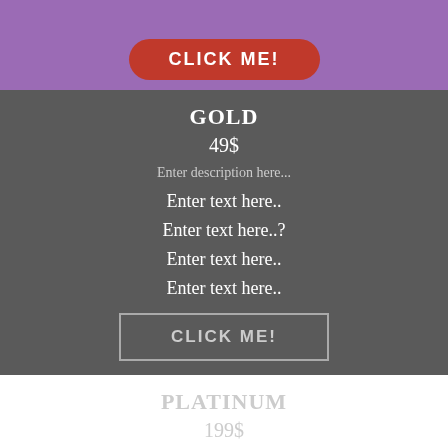[Figure (other): Purple banner section with a red rounded CLICK ME! button]
GOLD
49$
Enter description here...
Enter text here..
Enter text here..?
Enter text here..
Enter text here..
CLICK ME!
PLATINUM
199$
Enter description here...
Enter text here..
Enter text here..
Enter text here..?
CLICK ME!